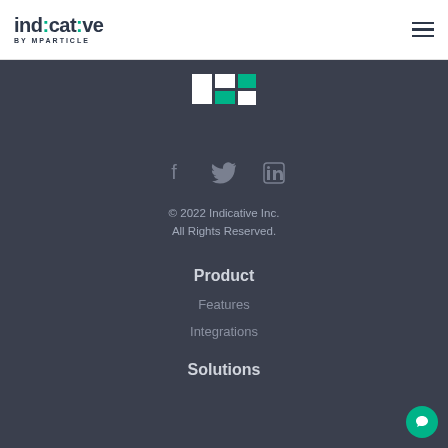indicative BY MPARTICLE
[Figure (logo): Indicative logo mark — a grid of rectangles in white and teal]
[Figure (illustration): Social media icons: Facebook, Twitter, LinkedIn in gray]
© 2022 Indicative Inc.
All Rights Reserved.
Product
Features
Integrations
Solutions